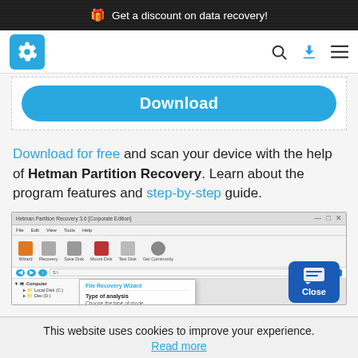🎁 Get a discount on data recovery!
[Figure (screenshot): Navigation bar with gear/settings logo in teal square, search icon, download icon in blue, and hamburger menu icon]
[Figure (screenshot): Download button in blue rounded rectangle style]
Download for free and scan your device with the help of Hetman Partition Recovery. Learn about the program features and step-by-step guide.
[Figure (screenshot): Screenshot of Hetman Partition Recovery 3.6 Corporate Edition software window showing toolbar with Wizard, Recovery, Save Disk, Mount Disk, Test Disk, Get Community buttons, and a File Recovery Wizard dialog showing Type of analysis - Choose the type of mode]
This website uses cookies to improve your experience.
Read more